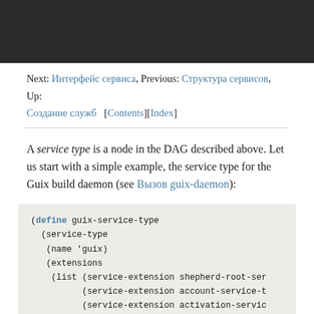[Figure (screenshot): Dark header bar at the top of the page]
Next: Интерфейс сервиса, Previous: Структура сервисов, Up: Создание служб   [Contents][Index]
A service type is a node in the DAG described above. Let us start with a simple example, the service type for the Guix build daemon (see Вызов guix-daemon):
(define guix-service-type
  (service-type
   (name 'guix)
   (extensions
    (list (service-extension shepherd-root-ser
          (service-extension account-service-t
          (service-extension activation-servic